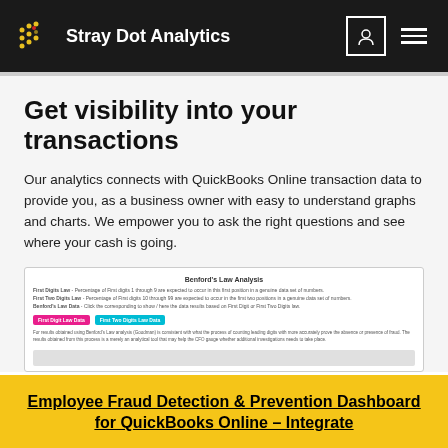Stray Dot Analytics
Get visibility into your transactions
Our analytics connects with QuickBooks Online transaction data to provide you, as a business owner with easy to understand graphs and charts. We empower you to ask the right questions and see where your cash is going.
[Figure (screenshot): Screenshot of Benford's Law Analysis dashboard showing First Digit Law and First Two Digits Law explanations, pink and teal buttons labeled 'First Digit Law Data' and 'First Two Digits Law Data', small explanatory text, and a gray bar chart area at the bottom.]
Employee Fraud Detection & Prevention Dashboard for QuickBooks Online – Integrate